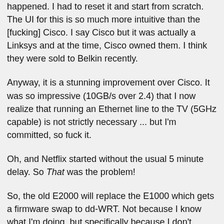happened. I had to reset it and start from scratch. The UI for this is so much more intuitive than the [fucking] Cisco. I say Cisco but it was actually a Linksys and at the time, Cisco owned them. I think they were sold to Belkin recently.
Anyway, it is a stunning improvement over Cisco. It was so impressive (10GB/s over 2.4) that I now realize that running an Ethernet line to the TV (5GHz capable) is not strictly necessary ... but I'm committed, so fuck it.
Oh, and Netflix started without the usual 5 minute delay. So That was the problem!
So, the old E2000 will replace the E1000 which gets a firmware swap to dd-WRT. Not because I know what I'm doing, but specifically because I don't.
After I have my fun I will use it only to broadcast SSIDs that insult my neighbors.
STFU Lori Hines